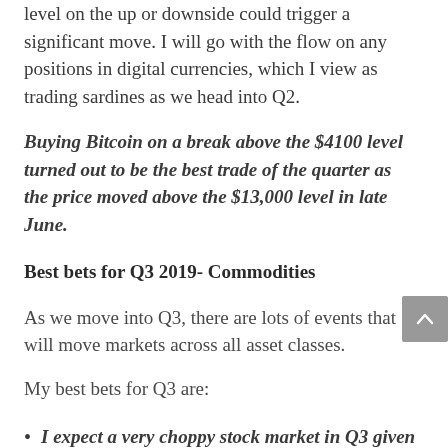level on the up or downside could trigger a significant move. I will go with the flow on any positions in digital currencies, which I view as trading sardines as we head into Q2.
Buying Bitcoin on a break above the $4100 level turned out to be the best trade of the quarter as the price moved above the $13,000 level in late June.
Best bets for Q3 2019- Commodities
As we move into Q3, there are lots of events that will move markets across all asset classes.
My best bets for Q3 are:
I expect a very choppy stock market in Q3 given concerns over trade, but the Fed has